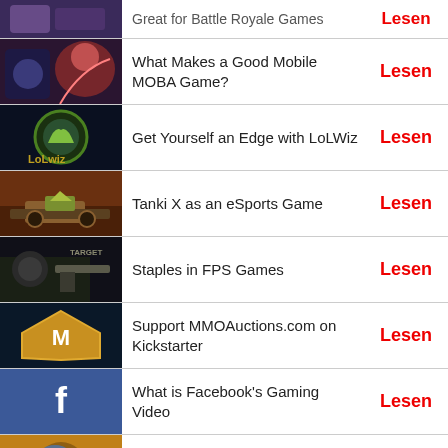Great for Battle Royale Games — Lesen
What Makes a Good Mobile MOBA Game? — Lesen
Get Yourself an Edge with LoLWiz — Lesen
Tanki X as an eSports Game — Lesen
Staples in FPS Games — Lesen
Support MMOAuctions.com on Kickstarter — Lesen
What is Facebook's Gaming Video — Lesen
Top 3 Battle Royale Games on iOS — Lesen
5 Best MOBA Games on ...